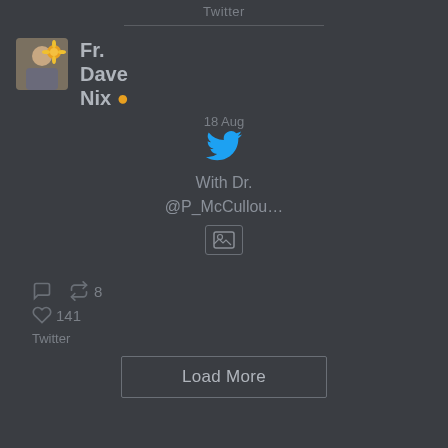Twitter
Fr. Dave Nix 🟠
18 Aug
[Figure (logo): Twitter bird logo in blue]
With Dr. @P_McCullou…
[Figure (other): Image placeholder icon]
retweets: 8, likes: 141
Twitter
Load More